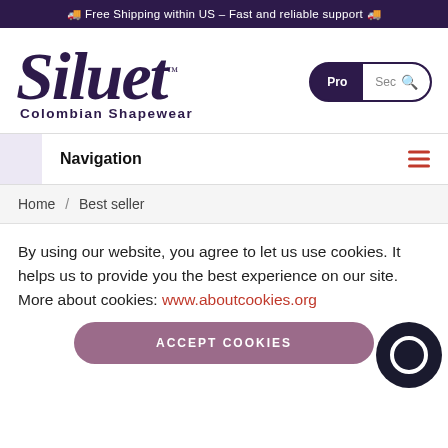🚚 Free Shipping within US – Fast and reliable support 🚚
[Figure (logo): Siluet Colombian Shapewear logo in dark purple cursive script]
Navigation
Home / Best seller
By using our website, you agree to let us use cookies. It helps us to provide you the best experience on our site. More about cookies: www.aboutcookies.org
ACCEPT COOKIES